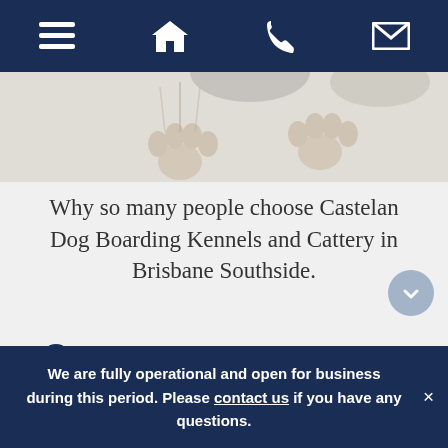Navigation bar with menu, home, phone, and email icons
[Figure (photo): Dog paws visible at top of image against light background]
Why so many people choose Castelan Dog Boarding Kennels and Cattery in Brisbane Southside.
Same owner operators since 1984
Many loyal customers,
We are fully operational and open for business during this period. Please contact us if you have any questions.